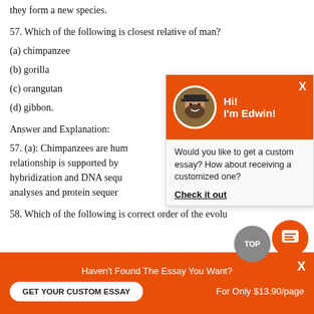they form a new species.
57. Which of the following is closest relative of man?
(a) chimpanzee
(b) gorilla
(c) orangutan
(d) gibbon.
Answer and Explanation:
57. (a): Chimpanzees are human closest relative. This relationship is supported by chromosomal hybridization and DNA sequence homology analyses and protein sequence homology.
58. Which of the following is correct order of the evolu
[Figure (other): Chat popup with avatar of Edwin, orange header saying Hi! I'm Edwin!, and body text: Would you like to get a custom essay? How about receiving a customized one? Check it out]
Haven't Found The Essay You Want?
GET YOUR CUSTOM ESSAY
For Only $13.90/page